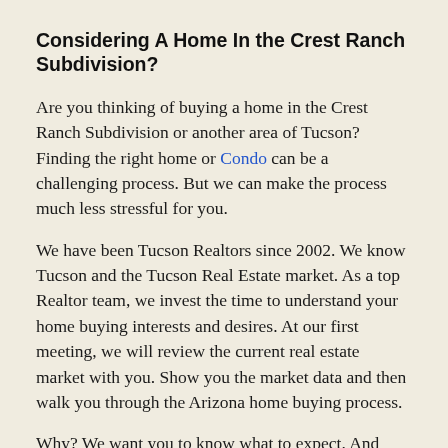Considering A Home In the Crest Ranch Subdivision?
Are you thinking of buying a home in the Crest Ranch Subdivision or another area of Tucson? Finding the right home or Condo can be a challenging process. But we can make the process much less stressful for you.
We have been Tucson Realtors since 2002. We know Tucson and the Tucson Real Estate market. As a top Realtor team, we invest the time to understand your home buying interests and desires. At our first meeting, we will review the current real estate market with you. Show you the market data and then walk you through the Arizona home buying process.
Why? We want you to know what to expect. And what to plan for.
Interested in new construction? We'll brief you on buying a